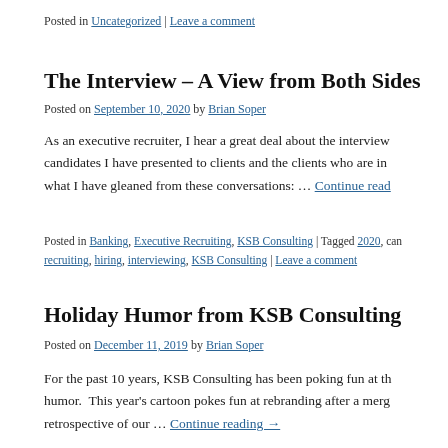Posted in Uncategorized | Leave a comment
The Interview – A View from Both Sides
Posted on September 10, 2020 by Brian Soper
As an executive recruiter, I hear a great deal about the interview from the candidates I have presented to clients and the clients who are in… what I have gleaned from these conversations: … Continue reading →
Posted in Banking, Executive Recruiting, KSB Consulting | Tagged 2020, can… recruiting, hiring, interviewing, KSB Consulting | Leave a comment
Holiday Humor from KSB Consulting
Posted on December 11, 2019 by Brian Soper
For the past 10 years, KSB Consulting has been poking fun at th… humor.  This year's cartoon pokes fun at rebranding after a merg… retrospective of our … Continue reading →